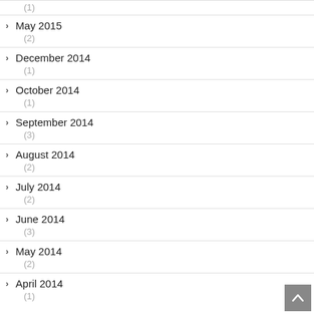May 2015 (2)
December 2014 (1)
October 2014 (1)
September 2014 (3)
August 2014 (2)
July 2014 (2)
June 2014 (3)
May 2014 (2)
April 2014 (1)